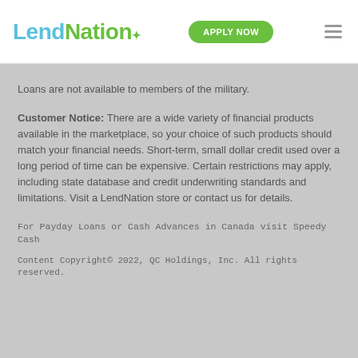LendNation APPLY NOW
Loans are not available to members of the military.
Customer Notice: There are a wide variety of financial products available in the marketplace, so your choice of such products should match your financial needs. Short-term, small dollar credit used over a long period of time can be expensive. Certain restrictions may apply, including state database and credit underwriting standards and limitations. Visit a LendNation store or contact us for details.
For Payday Loans or Cash Advances in Canada visit Speedy Cash
Content Copyright© 2022, QC Holdings, Inc. All rights reserved.